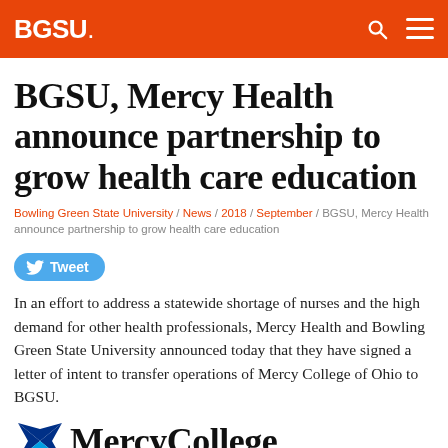BGSU.
BGSU, Mercy Health announce partnership to grow health care education
Bowling Green State University / News / 2018 / September / BGSU, Mercy Health announce partnership to grow health care education
Tweet
In an effort to address a statewide shortage of nurses and the high demand for other health professionals, Mercy Health and Bowling Green State University announced today that they have signed a letter of intent to transfer operations of Mercy College of Ohio to BGSU.
[Figure (logo): Mercy College logo with blue butterfly/cross icon and large text 'MercyCollege' partially visible at bottom]